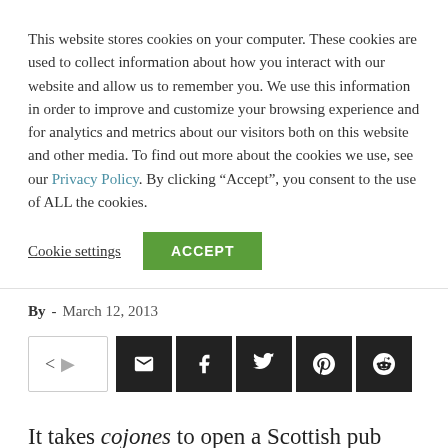This website stores cookies on your computer. These cookies are used to collect information about how you interact with our website and allow us to remember you. We use this information in order to improve and customize your browsing experience and for analytics and metrics about our visitors both on this website and other media. To find out more about the cookies we use, see our Privacy Policy. By clicking “Accept”, you consent to the use of ALL the cookies.
Cookie settings   ACCEPT
By - March 12, 2013
[Figure (other): Social share bar with email, facebook, twitter, pinterest, and reddit icon buttons]
It takes cojones to open a Scottish pub within a tattie’s throw of the legendary Tam O’ Shanter. Fortunately the operators of the Morrison know better than to try to